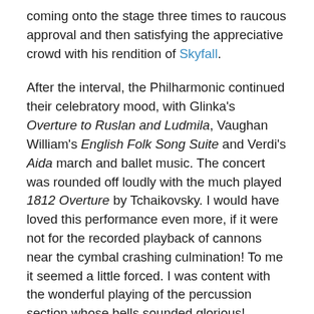coming onto the stage three times to raucous approval and then satisfying the appreciative crowd with his rendition of Skyfall.
After the interval, the Philharmonic continued their celebratory mood, with Glinka's Overture to Ruslan and Ludmila, Vaughan William's English Folk Song Suite and Verdi's Aida march and ballet music. The concert was rounded off loudly with the much played 1812 Overture by Tchaikovsky. I would have loved this performance even more, if it were not for the recorded playback of cannons near the cymbal crashing culmination! To me it seemed a little forced. I was content with the wonderful playing of the percussion section whose bells sounded glorious!
Overall it was a fun concert to see and a great start to